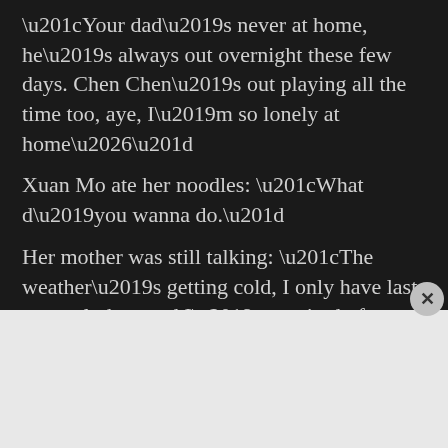Your dad’s never at home, he’s always out overnight these few days. Chen Chen’s out playing all the time too, aye, I’m so lonely at home…”
Xuan Mo ate her noodles: “What d’you wanna do.”
Her mother was still talking: “The weather’s getting cold, I only have last years clothes, and I’m so tired of looking at the clothes in my store I want to puke. I can’t take it anymore.”
[Figure (other): DuckDuckGo advertisement banner. Orange background with text: 'Search, browse, and email with more privacy. All in One Free App'. Shows a phone mockup with DuckDuckGo logo and wordmark.]